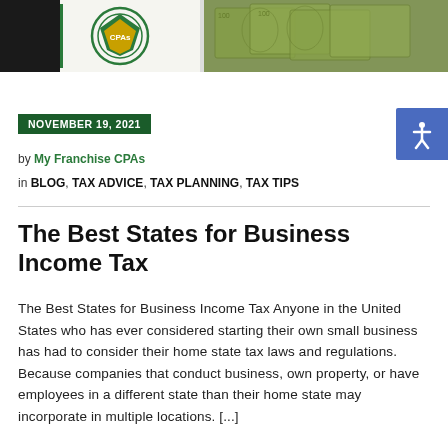[Figure (photo): Top banner image showing CPAs logo on left and money/currency on right]
NOVEMBER 19, 2021
by My Franchise CPAs
in BLOG, TAX ADVICE, TAX PLANNING, TAX TIPS
The Best States for Business Income Tax
The Best States for Business Income Tax Anyone in the United States who has ever considered starting their own small business has had to consider their home state tax laws and regulations. Because companies that conduct business, own property, or have employees in a different state than their home state may incorporate in multiple locations. [...]